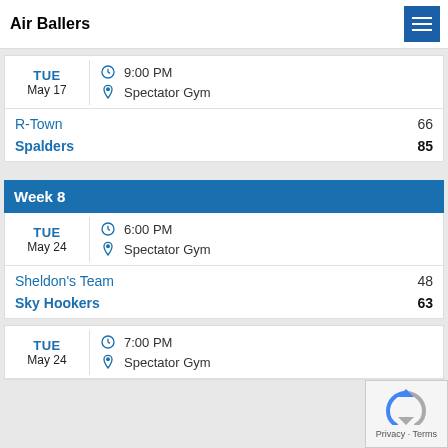Air Ballers
TUE May 17 | 9:00 PM | Spectator Gym
| Team | Score |
| --- | --- |
| R-Town | 66 |
| Spalders | 85 |
Week 8
TUE May 24 | 6:00 PM | Spectator Gym
| Team | Score |
| --- | --- |
| Sheldon's Team | 48 |
| Sky Hookers | 63 |
TUE May 24 | 7:00 PM | Spectator Gym